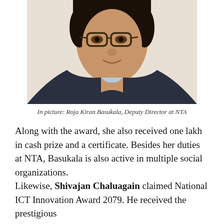[Figure (photo): Headshot portrait of Roja Kiran Basukala, a woman wearing glasses, a light blue top and dark blazer, photographed against a light background.]
In picture: Roja Kiran Basukala, Deputy Director at NTA
Along with the award, she also received one lakh in cash prize and a certificate. Besides her duties at NTA, Basukala is also active in multiple social organizations.
Likewise, Shivajan Chaluagain claimed National ICT Innovation Award 2079. He received the prestigious